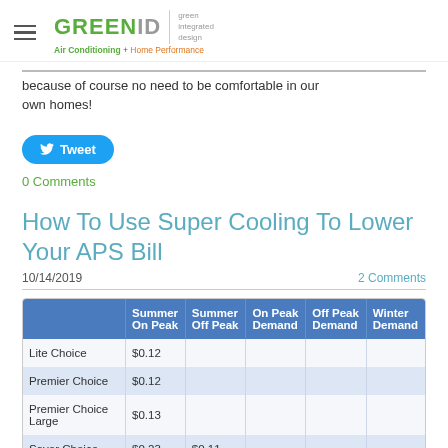GREENID green integrated design | Air Conditioning + Home Performance
...because of course no need to be comfortable in our own homes!
Tweet
0 Comments
How To Use Super Cooling To Lower Your APS Bill
10/14/2019 | 2 Comments
|  | Summer On Peak | Summer Off Peak | On Peak Demand | Off Peak Demand | Winter Demand |
| --- | --- | --- | --- | --- | --- |
| Lite Choice | $0.12 |  |  |  |  |
| Premier Choice | $0.12 |  |  |  |  |
| Premier Choice Large | $0.13 |  |  |  |  |
| Saver Choice | $0.23 | $0.11 |  |  |  |